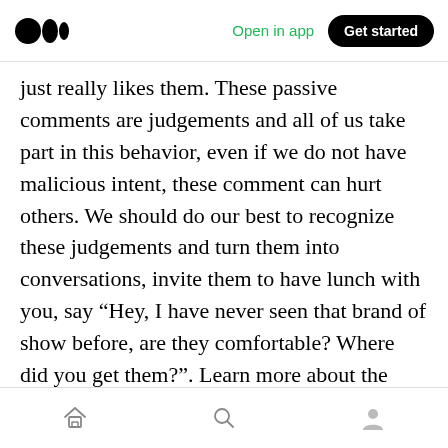Medium app header — Open in app | Get started
just really likes them. These passive comments are judgements and all of us take part in this behavior, even if we do not have malicious intent, these comment can hurt others. We should do our best to recognize these judgements and turn them into conversations, invite them to have lunch with you, say “Hey, I have never seen that brand of show before, are they comfortable? Where did you get them?”. Learn more about the people in your life and assume less.
Three, recognizing emotion in other people. This can be awkward for some people in the
Home | Search | Profile